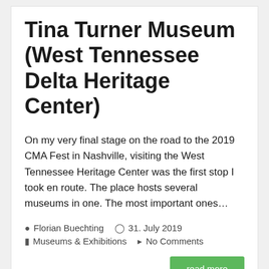Tina Turner Museum (West Tennessee Delta Heritage Center)
On my very final stage on the road to the 2019 CMA Fest in Nashville, visiting the West Tennessee Heritage Center was the first stop I took en route. The place hosts several museums in one. The most important ones…
Florian Buechting  31. July 2019  Museums & Exhibitions  No Comments
[Figure (photo): Photo showing a lux airport sign/mat with red logo on dark background]